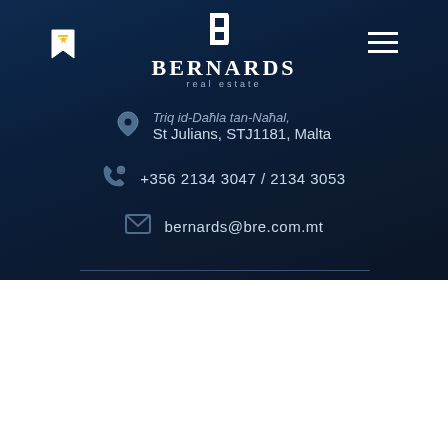[Figure (logo): Bernards Real Estate logo with stylized B icon in white on dark navy background, with text BERNARDS in serif uppercase and 'real estate' in smaller tracking]
St Julians, STJ1181, Malta
+356 2134 3047 / 2134 3053
bernards@bre.com.mt
We use cookies on our website to give you the most relevant experience by remembering your preferences and repeat visits. By clicking "Accept All", you consent to the use of ALL the cookies. However, you may visit "Cookie Settings" to provide a controlled consent.
Cookie Settings
Accept All